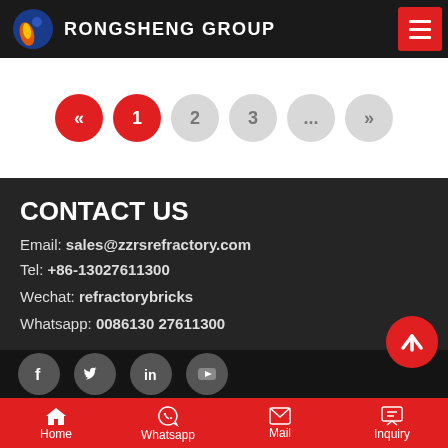RONGSHENG GROUP
« 1 2 3 ... »
CONTACT US
Email: sales@zzrsrefractory.com
Tel: +86-13027611300
Wechat: refractorybricks
Whatsapp: 0086130 27611300
[Figure (infographic): Social media icons: Facebook, Twitter, LinkedIn, YouTube]
Home  Whatsapp  Mail  Inquiry